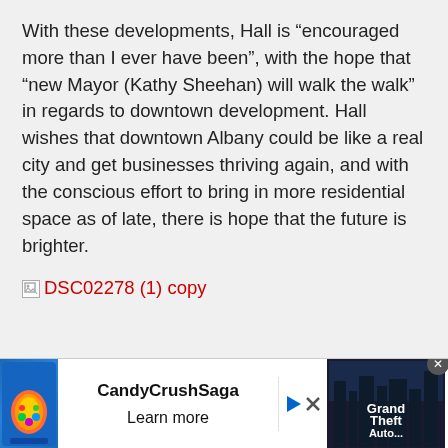With these developments, Hall is “encouraged more than I ever have been”, with the hope that “new Mayor (Kathy Sheehan) will walk the walk” in regards to downtown development. Hall wishes that downtown Albany could be like a real city and get businesses thriving again, and with the conscious effort to bring in more residential space as of late, there is hope that the future is brighter.
[Figure (other): Broken image placeholder with alt text 'DSC02278 (1) copy' shown in red]
[Figure (other): Advertisement banner showing Candy Crush Saga and Grand Theft Auto ads with a close button]